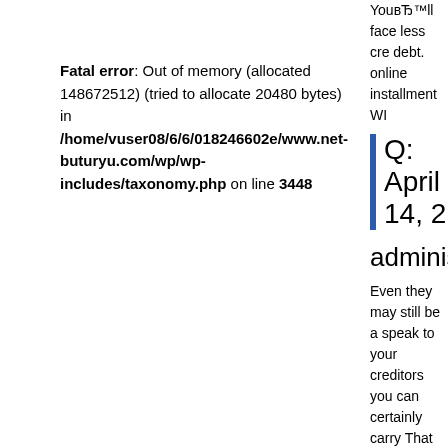Fatal error: Out of memory (allocated 148672512) (tried to allocate 20480 bytes) in /home/vuser08/6/6/018246602e/www.net-buturyu.com/wp/wp-includes/taxonomy.php on line 3448
YouвЂ™ll face less cre debt.
online installment WI
Q: April 14, 2
administratio
Even they may still be a speak to your creditors you can certainly carry That which you donвЂ™ telephone calls. From y hear. Creditors will out anything towards the co Bear in mind that custo you finances for it if yo work with you if youвЂ « That Which We Unde longer term loan servic